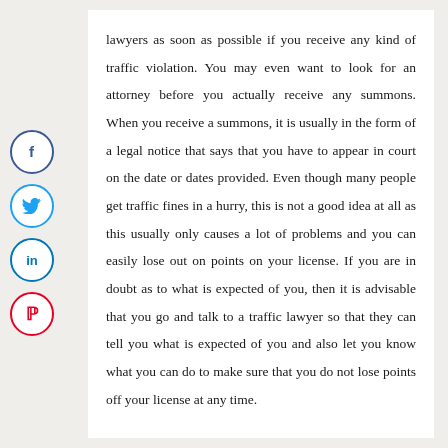lawyers as soon as possible if you receive any kind of traffic violation. You may even want to look for an attorney before you actually receive any summons. When you receive a summons, it is usually in the form of a legal notice that says that you have to appear in court on the date or dates provided. Even though many people get traffic fines in a hurry, this is not a good idea at all as this usually only causes a lot of problems and you can easily lose out on points on your license. If you are in doubt as to what is expected of you, then it is advisable that you go and talk to a traffic lawyer so that they can tell you what is expected of you and also let you know what you can do to make sure that you do not lose points off your license at any time.